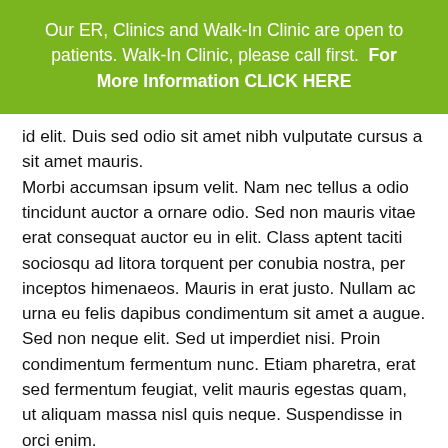Our ER, Clinics and Walk-In Clinic are open to patients. Walk-In Clinic, please call first.  For More Information CLICK HERE
id elit. Duis sed odio sit amet nibh vulputate cursus a sit amet mauris.
Morbi accumsan ipsum velit. Nam nec tellus a odio tincidunt auctor a ornare odio. Sed non mauris vitae erat consequat auctor eu in elit. Class aptent taciti sociosqu ad litora torquent per conubia nostra, per inceptos himenaeos. Mauris in erat justo. Nullam ac urna eu felis dapibus condimentum sit amet a augue. Sed non neque elit. Sed ut imperdiet nisi. Proin condimentum fermentum nunc. Etiam pharetra, erat sed fermentum feugiat, velit mauris egestas quam, ut aliquam massa nisl quis neque. Suspendisse in orci enim.